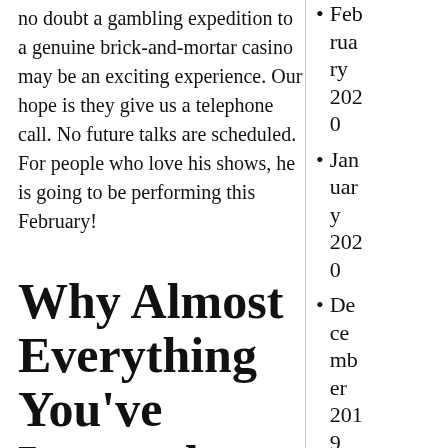no doubt a gambling expedition to a genuine brick-and-mortar casino may be an exciting experience. Our hope is they give us a telephone call. No future talks are scheduled. For people who love his shows, he is going to be performing this February!
Why Almost Everything You've Learned About
February 2020
January 2020
December 2019